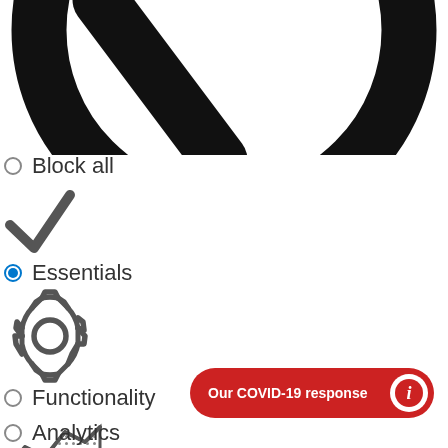[Figure (illustration): Large black circle/no-entry style icon, partially cropped at top of page]
Block all
[Figure (illustration): Grey checkmark icon]
Essentials
[Figure (illustration): Grey gear/settings icon]
Functionality
[Figure (illustration): Grey area chart / analytics icon]
Analytics
[Figure (infographic): Red pill-shaped button reading 'Our COVID-19 response' with white info icon on right]